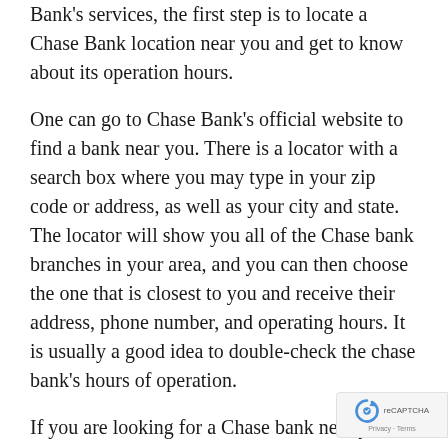Bank's services, the first step is to locate a Chase Bank location near you and get to know about its operation hours.
One can go to Chase Bank's official website to find a bank near you. There is a locator with a search box where you may type in your zip code or address, as well as your city and state. The locator will show you all of the Chase bank branches in your area, and you can then choose the one that is closest to you and receive their address, phone number, and operating hours. It is usually a good idea to double-check the chase bank's hours of operation.
If you are looking for a Chase bank near you, yo...